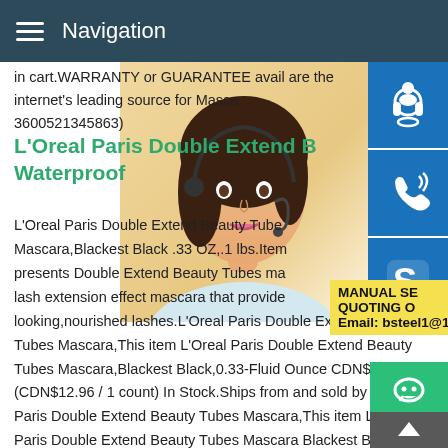Navigation
in cart.WARRANTY or GUARANTEE avail are the internet's leading source for Masca 3600521345863)
L'Oreal Paris Double Extend Beauty Tubes Waterproof
L'Oreal Paris Double Extend Beauty Tubes Mascara,Blackest Black .33 OZ,.1 lbs.Item presents Double Extend Beauty Tubes ma lash extension effect mascara that provide looking,nourished lashes.L'Oreal Paris Double Extend Beauty Tubes Mascara,This item L'Oreal Paris Double Extend Beauty Tubes Mascara,Blackest Black,0.33-Fluid Ounce CDN$12.96 (CDN$12.96 / 1 count) In Stock.Ships from and sold by .ca.L'Oreal Paris Double Extend Beauty Tubes Mascara,This item L'Oreal Paris Double Extend Beauty Tubes Mascara Blackest Black 0.
[Figure (photo): Customer service representative, a woman wearing a headset, smiling]
[Figure (infographic): Three blue icon buttons on right side: customer support headset icon, phone/call icon, Skype icon]
MANUAL SE QUOTING O Email: bsteel1@163.com